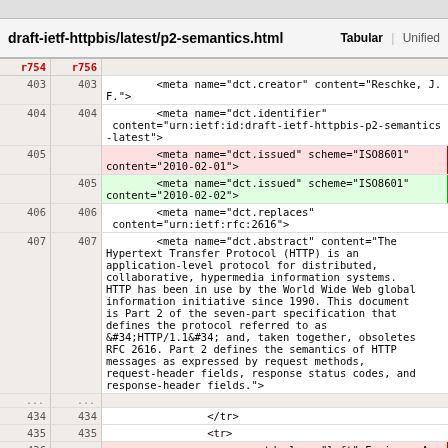draft-ietf-httpbis/latest/p2-semantics.html   Tabular | Unified
| r754 | r756 |  |
| --- | --- | --- |
| 403 | 403 | <meta name="dct.creator" content="Reschke, J. F."> |
| 404 | 404 | <meta name="dct.identifier" content="urn:ietf:id:draft-ietf-httpbis-p2-semantics-latest"> |
| 405 |  | <meta name="dct.issued" scheme="ISO8601" content="2010-02-01"> |
|  | 405 | <meta name="dct.issued" scheme="ISO8601" content="2010-02-02"> |
| 406 | 406 | <meta name="dct.replaces" content="urn:ietf:rfc:2616"> |
| 407 | 407 | <meta name="dct.abstract" content="The Hypertext Transfer Protocol (HTTP) is an application-level protocol for distributed, collaborative, hypermedia information systems. HTTP has been in use by the World Wide Web global information initiative since 1990. This document is Part 2 of the seven-part specification that defines the protocol referred to as &#34;HTTP/1.1&#34; and, taken together, obsoletes RFC 2616. Part 2 defines the semantics of HTTP messages as expressed by request methods, request-header fields, response status codes, and response-header fields."> |
| ... | ... |  |
| 434 | 434 | </tr> |
| 435 | 435 | <tr> |
| 436 |  | <td class="left">Expires: August 5, 2010</td> |